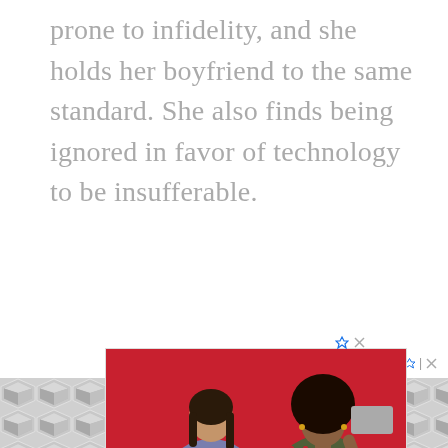prone to infidelity, and she holds her boyfriend to the same standard. She also finds being ignored in favor of technology to be insufferable.
[Figure (photo): CVS Pharmacy advertisement showing two women on a red background, with a CVS pharmacy logo, Buy One Get One 50% off text, store map thumbnail, and Ashburn location with hours 08:00 - 00:00]
[Figure (photo): Bottom advertisement strip with a hexagonal/diamond pattern in grey and white]